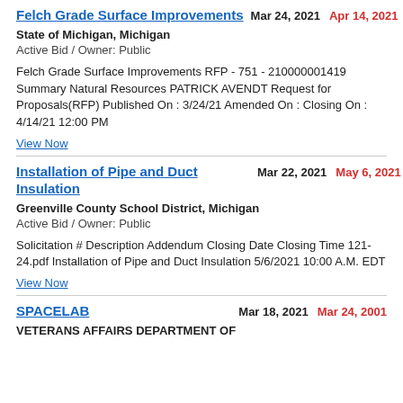Felch Grade Surface Improvements
Mar 24, 2021   Apr 14, 2021
State of Michigan, Michigan
Active Bid / Owner: Public
Felch Grade Surface Improvements RFP - 751 - 210000001419 Summary Natural Resources PATRICK AVENDT Request for Proposals(RFP) Published On : 3/24/21 Amended On : Closing On : 4/14/21 12:00 PM
View Now
Installation of Pipe and Duct Insulation
Mar 22, 2021   May 6, 2021
Greenville County School District, Michigan
Active Bid / Owner: Public
Solicitation # Description Addendum Closing Date Closing Time 121-24.pdf Installation of Pipe and Duct Insulation 5/6/2021 10:00 A.M. EDT
View Now
SPACELAB
Mar 18, 2021   Mar 24, 2001
VETERANS AFFAIRS DEPARTMENT OF